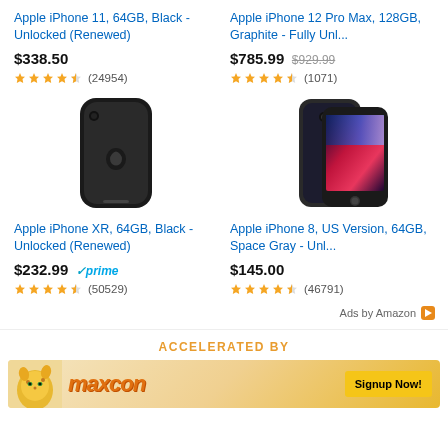[Figure (other): Amazon product listing grid with 4 iPhone products]
Apple iPhone 11, 64GB, Black - Unlocked (Renewed)
$338.50
4.5 stars (24954)
Apple iPhone 12 Pro Max, 128GB, Graphite - Fully Unl...
$785.99 $929.99
4.5 stars (1071)
[Figure (photo): Apple iPhone XR back view, black]
[Figure (photo): Apple iPhone 8 Space Gray front and back view]
Apple iPhone XR, 64GB, Black - Unlocked (Renewed)
$232.99 prime
4.5 stars (50529)
Apple iPhone 8, US Version, 64GB, Space Gray - Unl...
$145.00
4.5 stars (46791)
Ads by Amazon
ACCELERATED BY
[Figure (other): MaxCon advertisement banner with cheetah logo and Signup Now button]